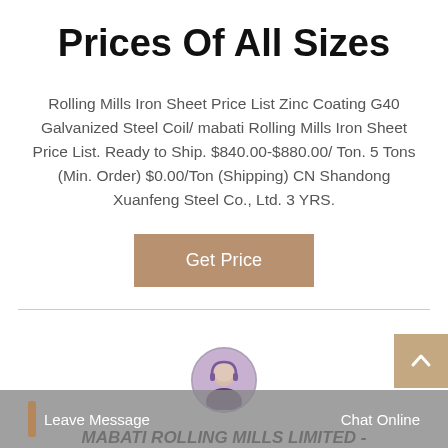Prices Of All Sizes
Rolling Mills Iron Sheet Price List Zinc Coating G40 Galvanized Steel Coil/ mabati Rolling Mills Iron Sheet Price List. Ready to Ship. $840.00-$880.00/ Ton. 5 Tons (Min. Order) $0.00/Ton (Shipping) CN Shandong Xuanfeng Steel Co., Ltd. 3 YRS.
Get Price
MABATI ROLLING MILLS LIMITED -
Leave Message
Chat Online
exportgenius.in